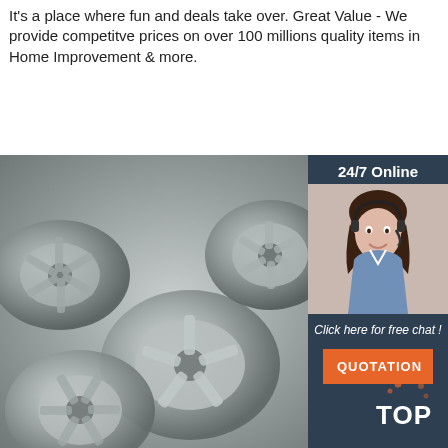It's a place where fun and deals take over. Great Value - We provide competitve prices on over 100 millions quality items in Home Improvement & more.
[Figure (other): Orange 'Get Price' button]
[Figure (photo): Pile of metal impeller/pump castings in silver/grey aluminum]
[Figure (infographic): Dark blue sidebar with '24/7 Online' badge, customer service agent photo, 'Click here for free chat!' text, and orange QUOTATION button. Bottom right shows a TOP badge with orange dots.]